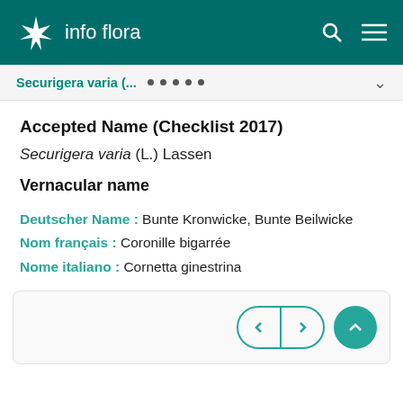info flora
Securigera varia (... • • • • •
Accepted Name (Checklist 2017)
Securigera varia (L.) Lassen
Vernacular name
Deutscher Name : Bunte Kronwicke, Bunte Beilwicke
Nom français : Coronille bigarrée
Nome italiano : Cornetta ginestrina